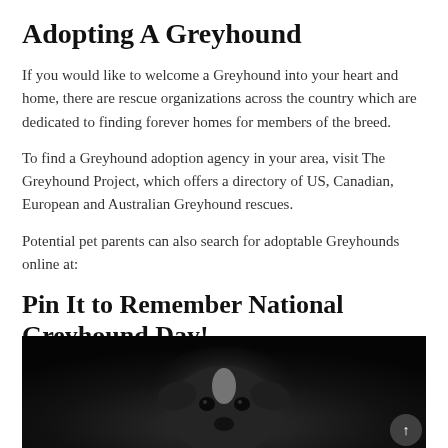Adopting A Greyhound
If you would like to welcome a Greyhound into your heart and home, there are rescue organizations across the country which are dedicated to finding forever homes for members of the breed.
To find a Greyhound adoption agency in your area, visit The Greyhound Project, which offers a directory of US, Canadian, European and Australian Greyhound rescues.
Potential pet parents can also search for adoptable Greyhounds online at:
Pin It to Remember National Greyhound Day!
[Figure (photo): Black and white close-up photo of a greyhound dog's head against a dark background, partially visible at the bottom of the page.]